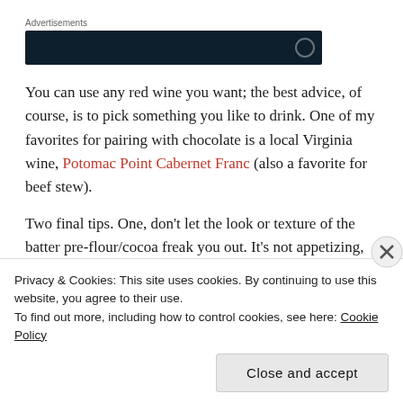Advertisements
[Figure (other): Dark navy advertisement banner with a circular icon on the right]
You can use any red wine you want; the best advice, of course, is to pick something you like to drink. One of my favorites for pairing with chocolate is a local Virginia wine, Potomac Point Cabernet Franc (also a favorite for beef stew).
Two final tips. One, don't let the look or texture of the batter pre-flour/cocoa freak you out. It's not appetizing, but trust me: it will work itself out. Second, don't drink the rest of the wine in the bottle until
Privacy & Cookies: This site uses cookies. By continuing to use this website, you agree to their use.
To find out more, including how to control cookies, see here: Cookie Policy
Close and accept